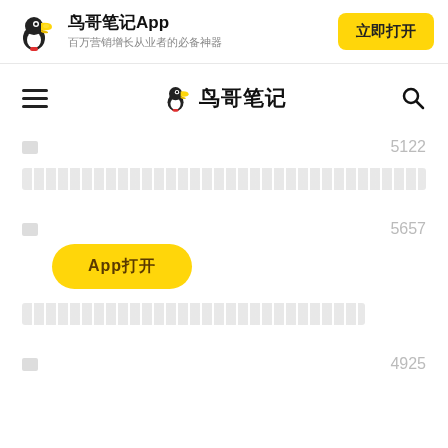[Figure (screenshot): App banner with toucan logo, title '鸟哥笔记App', subtitle '百万营销增长从业者的必备神器', and yellow '立即打开' button]
[Figure (logo): Navigation bar with hamburger menu, '鸟哥笔记' logo with toucan icon, and search icon]
□ 5122
□□□□□□□□□□□□□□□□□□□□□
□ 5657
App□□□
□□□□□□□□□□□□□□□□□□□□□□□
□ 4925